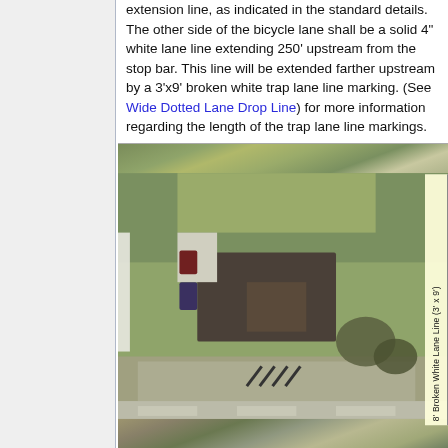extension line, as indicated in the standard details. The other side of the bicycle lane shall be a solid 4" white lane line extending 250' upstream from the stop bar. This line will be extended farther upstream by a 3'x9' broken white trap lane line marking. (See Wide Dotted Lane Drop Line) for more information regarding the length of the trap lane line markings.
[Figure (photo): Aerial photograph of a building/property with road marking overlays indicating broken white lane line patterns. A rotated label on the right reads '8' Broken White Lane Line (3' x 9')'.]